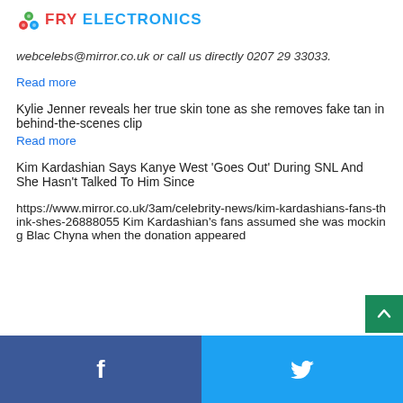[Figure (logo): Fry Electronics logo with colorful icon and text]
webcelebs@mirror.co.uk or call us directly 0207 29 33033.
Read more
Kylie Jenner reveals her true skin tone as she removes fake tan in behind-the-scenes clip
Read more
Kim Kardashian Says Kanye West 'Goes Out' During SNL And She Hasn't Talked To Him Since
https://www.mirror.co.uk/3am/celebrity-news/kim-kardashians-fans-think-shes-26888055 Kim Kardashian's fans assumed she was mocking Blac Chyna when the donation appeared
Facebook | Twitter